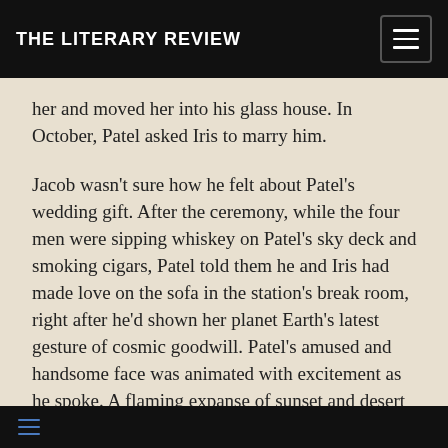THE LITERARY REVIEW
her and moved her into his glass house. In October, Patel asked Iris to marry him.
Jacob wasn't sure how he felt about Patel's wedding gift. After the ceremony, while the four men were sipping whiskey on Patel's sky deck and smoking cigars, Patel told them he and Iris had made love on the sofa in the station's break room, right after he'd shown her planet Earth's latest gesture of cosmic goodwill. Patel's amused and handsome face was animated with excitement as he spoke. A flaming expanse of sunset and desert was splayed out before